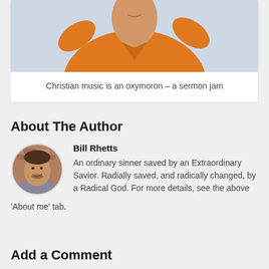[Figure (photo): Cropped photo of a person in an orange top with hands raised, with a light blue background visible at top]
Christian music is an oxymoron – a sermon jam
About The Author
[Figure (photo): Circular avatar photo of Bill Rhetts, a man in a suit with a bow tie, smiling, with a brick wall background]
Bill Rhetts
An ordinary sinner saved by an Extraordinary Savior. Radially saved, and radically changed, by a Radical God. For more details, see the above 'About me' tab.
Add a Comment